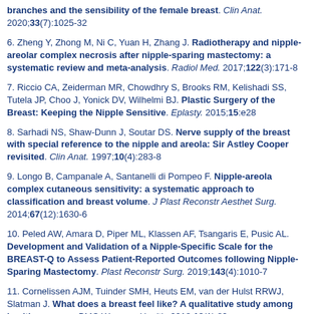branches and the sensibility of the female breast. Clin Anat. 2020;33(7):1025-32
6. Zheng Y, Zhong M, Ni C, Yuan H, Zhang J. Radiotherapy and nipple-areolar complex necrosis after nipple-sparing mastectomy: a systematic review and meta-analysis. Radiol Med. 2017;122(3):171-8
7. Riccio CA, Zeiderman MR, Chowdhry S, Brooks RM, Kelishadi SS, Tutela JP, Choo J, Yonick DV, Wilhelmi BJ. Plastic Surgery of the Breast: Keeping the Nipple Sensitive. Eplasty. 2015;15:e28
8. Sarhadi NS, Shaw-Dunn J, Soutar DS. Nerve supply of the breast with special reference to the nipple and areola: Sir Astley Cooper revisited. Clin Anat. 1997;10(4):283-8
9. Longo B, Campanale A, Santanelli di Pompeo F. Nipple-areola complex cutaneous sensitivity: a systematic approach to classification and breast volume. J Plast Reconstr Aesthet Surg. 2014;67(12):1630-6
10. Peled AW, Amara D, Piper ML, Klassen AF, Tsangaris E, Pusic AL. Development and Validation of a Nipple-Specific Scale for the BREAST-Q to Assess Patient-Reported Outcomes following Nipple-Sparing Mastectomy. Plast Reconstr Surg. 2019;143(4):1010-7
11. Cornelissen AJM, Tuinder SMH, Heuts EM, van der Hulst RRWJ, Slatman J. What does a breast feel like? A qualitative study among healthy women. BMC Womens Health. 2018;18(1):82
12. Bulut T, Tahta M, Sener U, Sener M. Inter- and intra-tester reliability of sensibility testing in healthy individuals. J Plast Surg Hand Surg.